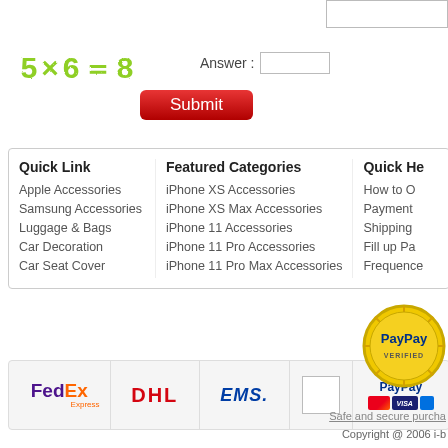[Figure (screenshot): CAPTCHA image showing math equation 5x6=8 in green dotted/pixel font]
Answer :
Submit
Quick Link
Apple Accessories
Samsung Accessories
Luggage & Bags
Car Decoration
Car Seat Cover
Featured Categories
iPhone XS Accessories
iPhone XS Max Accessories
iPhone 11 Accessories
iPhone 11 Pro Accessories
iPhone 11 Pro Max Accessories
Quick He...
How to O...
Payment...
Shipping...
Fill up Pa...
Frequence...
[Figure (logo): FedEx Express logo]
[Figure (logo): DHL logo]
[Figure (logo): EMS logo]
[Figure (logo): PayPay with Mastercard and Visa card logos]
[Figure (logo): PayPay Verified badge - gold circular seal]
Safe and secure purcha...
Copyright @ 2006 i-b...